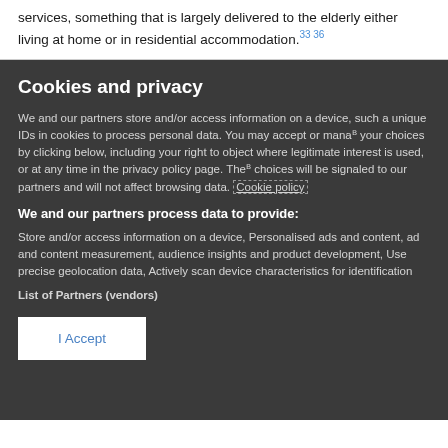services, something that is largely delivered to the elderly either living at home or in residential accommodation.33 36
Cookies and privacy
We and our partners store and/or access information on a device, such as unique IDs in cookies to process personal data. You may accept or manage your choices by clicking below, including your right to object where legitimate interest is used, or at any time in the privacy policy page. These choices will be signaled to our partners and will not affect browsing data. Cookie policy
We and our partners process data to provide:
Store and/or access information on a device, Personalised ads and content, ad and content measurement, audience insights and product development, Use precise geolocation data, Actively scan device characteristics for identification
List of Partners (vendors)
I Accept